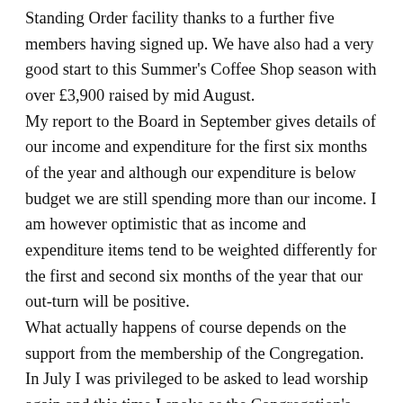Standing Order facility thanks to a further five members having signed up. We have also had a very good start to this Summer's Coffee Shop season with over £3,900 raised by mid August. My report to the Board in September gives details of our income and expenditure for the first six months of the year and although our expenditure is below budget we are still spending more than our income. I am however optimistic that as income and expenditure items tend to be weighted differently for the first and second six months of the year that our out-turn will be positive. What actually happens of course depends on the support from the membership of the Congregation. In July I was privileged to be asked to lead worship again and this time I spoke as the Congregation's Treasurer. My message was that we should all think about our offerings to St Mark's and I am pleased that the text of my sermon has been included in this quarter's Messenger, pages 6 to 11*. If you